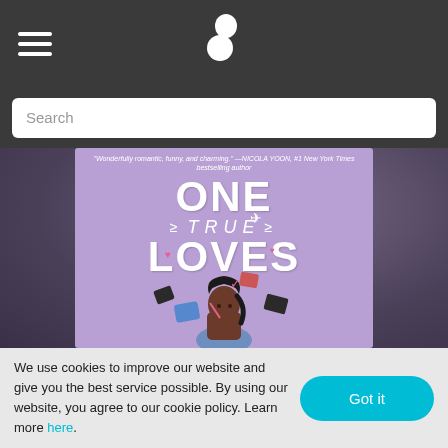Navigation header with hamburger menu and logo
Search
[Figure (illustration): Book cover for 'One True Loves' — lavender/purple background with illustrated young woman sitting surrounded by floating travel items. Title text: ONE TRUE LOVES. Blurb: 'Wonderfully romantic, funny, and charming — NICOLA YOON, #1 New York Times bestselling author']
We use cookies to improve our website and give you the best service possible. By using our website, you agree to our cookie policy. Learn more here.